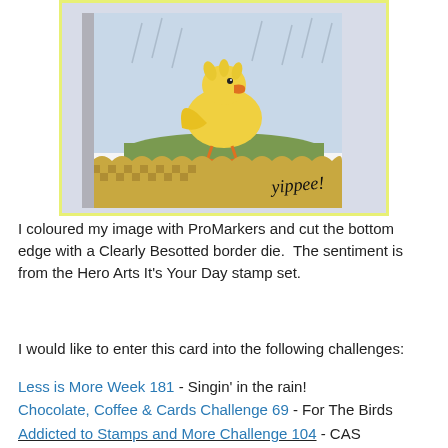[Figure (photo): A greeting card featuring a yellow duckling standing in the rain on green grass, with rain lines illustrated in the background. The bottom of the card has a gold/tan gingham patterned border with a scalloped edge and the word 'yippee!' written in script. The card is displayed at an angle on a white surface. The image has a yellow-green border.]
I coloured my image with ProMarkers and cut the bottom edge with a Clearly Besotted border die.  The sentiment is from the Hero Arts It's Your Day stamp set.
I would like to enter this card into the following challenges:
Less is More Week 181 - Singin' in the rain!
Chocolate, Coffee & Cards Challenge 69 - For The Birds
Addicted to Stamps and More Challenge 104 - CAS